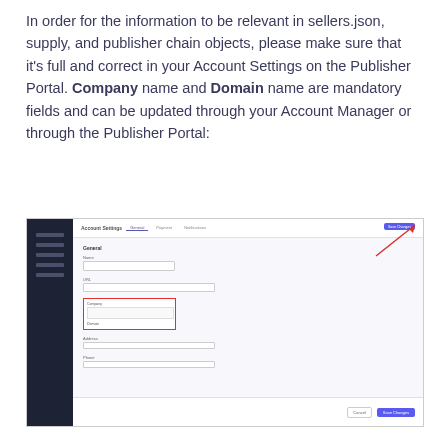In order for the information to be relevant in sellers.json, supply, and publisher chain objects, please make sure that it's full and correct in your Account Settings on the Publisher Portal. Company name and Domain name are mandatory fields and can be updated through your Account Manager or through the Publisher Portal:
[Figure (screenshot): Screenshot of the Publisher Portal Account Settings page showing a form with General section fields including Company name and Domain fields highlighted with a red box, and a red arrow pointing to a save button in the top right corner.]